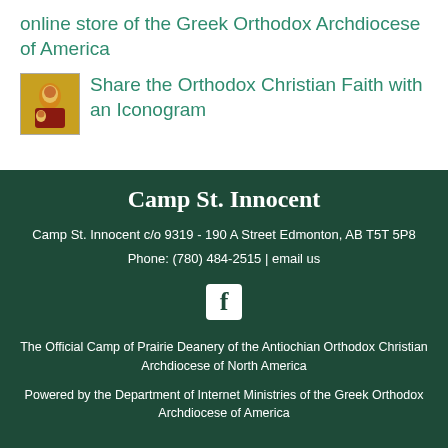online store of the Greek Orthodox Archdiocese of America
[Figure (illustration): Small icon image of Orthodox Christian religious art (iconogram)]
Share the Orthodox Christian Faith with an Iconogram
Camp St. Innocent
Camp St. Innocent c/o 9319 - 190 A Street Edmonton, AB T5T 5P8
Phone: (780) 484-2515 | email us
[Figure (logo): Facebook icon logo in white on dark green background]
The Official Camp of Prairie Deanery of the Antiochian Orthodox Christian Archdiocese of North America
Powered by the Department of Internet Ministries of the Greek Orthodox Archdiocese of America